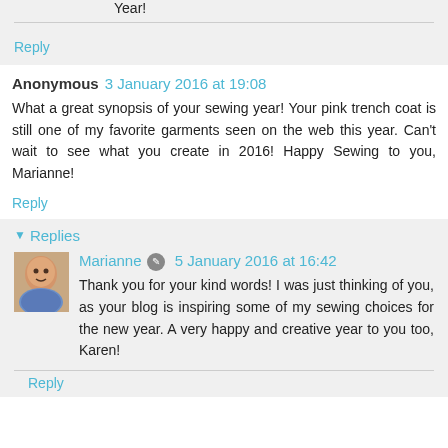Year!
Reply
Anonymous  3 January 2016 at 19:08
What a great synopsis of your sewing year! Your pink trench coat is still one of my favorite garments seen on the web this year. Can't wait to see what you create in 2016! Happy Sewing to you, Marianne!
Reply
Replies
Marianne  5 January 2016 at 16:42
Thank you for your kind words! I was just thinking of you, as your blog is inspiring some of my sewing choices for the new year. A very happy and creative year to you too, Karen!
Reply